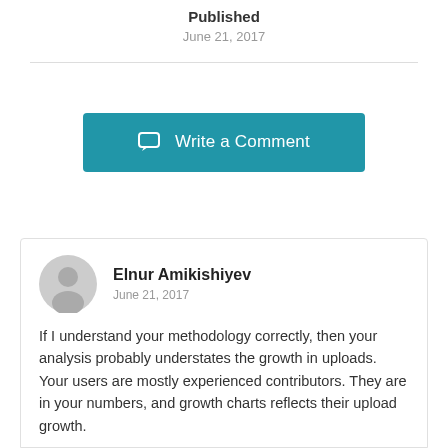Published
June 21, 2017
[Figure (other): Write a Comment button with speech bubble icon]
Elnur Amikishiyev
June 21, 2017
If I understand your methodology correctly, then your analysis probably understates the growth in uploads. Your users are mostly experienced contributors. They are in your numbers, and growth charts reflects their upload growth.